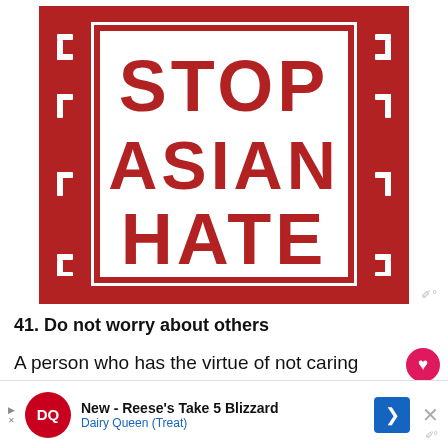[Figure (logo): Stop Asian Hate logo — bold red block letters 'STOP ASIAN HATE' in three lines, inside a white rectangle bordered by a thick red frame with decorative Asian-style bracket patterns on the sides. Red background overall.]
41. Do not worry about others
A person who has the virtue of not caring what others think will not respond to someone's hurtful behavior with cruelty.
[Figure (infographic): Dairy Queen advertisement banner: DQ logo on red circle, text 'New - Reese's Take 5 Blizzard' and 'Dairy Queen (Treat)' with a blue arrow button and close X button.]